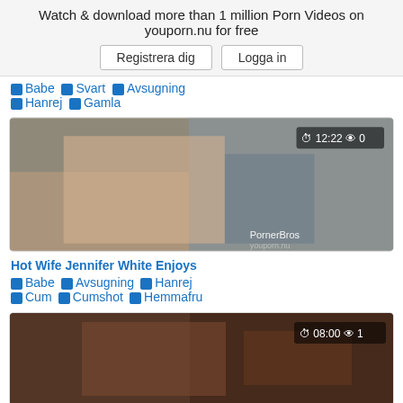Watch & download more than 1 million Porn Videos on youporn.nu for free
Registrera dig  Logga in
🏷 Babe 🏷 Svart 🏷 Avsugning 🏷 Hanrej 🏷 Gamla
[Figure (photo): Video thumbnail showing adult content, overlay reads 12:22 and 0 views, watermark PornerBros]
Hot Wife Jennifer White Enjoys
🏷 Babe 🏷 Avsugning 🏷 Hanrej 🏷 Cum 🏷 Cumshot 🏷 Hemmafru
[Figure (photo): Video thumbnail showing adult content, overlay reads 08:00 and 1 view]